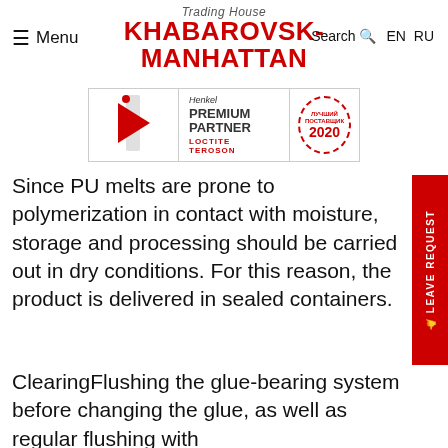Menu | Trading House KHABAROVSK-MANHATTAN | Search EN RU
[Figure (logo): Henkel Premium Partner badge with Loctite and Teroson logos, and a red circular stamp for 2020]
Since PU melts are prone to polymerization in contact with moisture, storage and processing should be carried out in dry conditions. For this reason, the product is delivered in sealed containers.
ClearingFlushing the glue-bearing system before changing the glue, as well as regular flushing with